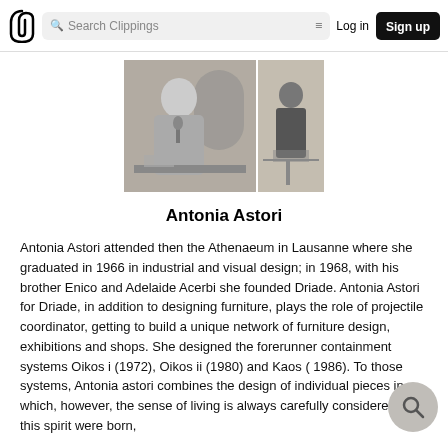Search Clippings | Log in | Sign up
[Figure (photo): Two black and white photographs of Antonia Astori side by side. Left photo shows a woman with light hair speaking at a microphone with a curved chair in background. Right photo shows a woman in dark clothing seated at a desk.]
Antonia Astori
Antonia Astori attended then the Athenaeum in Lausanne where she graduated in 1966 in industrial and visual design; in 1968, with his brother Enico and Adelaide Acerbi she founded Driade. Antonia Astori for Driade, in addition to designing furniture, plays the role of projectile coordinator, getting to build a unique network of furniture design, exhibitions and shops. She designed the forerunner containment systems Oikos i (1972), Oikos ii (1980) and Kaos ( 1986). To those systems, Antonia astori combines the design of individual pieces in which, however, the sense of living is always carefully considered. in this spirit were born,